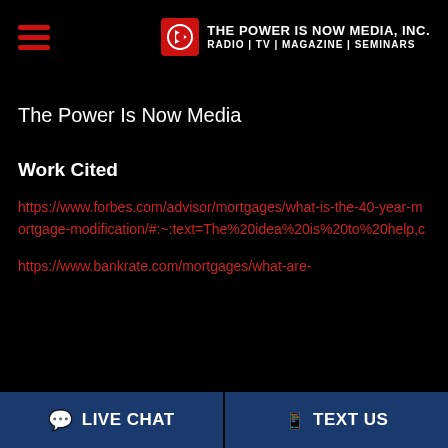The Power Is Now Media, Inc. Radio | TV | Magazine | Seminars
The Power Is Now Media
Work Cited
https://www.forbes.com/advisor/mortgages/what-is-the-40-year-mortgage-modification/#:~:text=The%20idea%20is%20to%20help,c
https://www.bankrate.com/mortgages/what-are-
LIVE CHAT   TEXT US